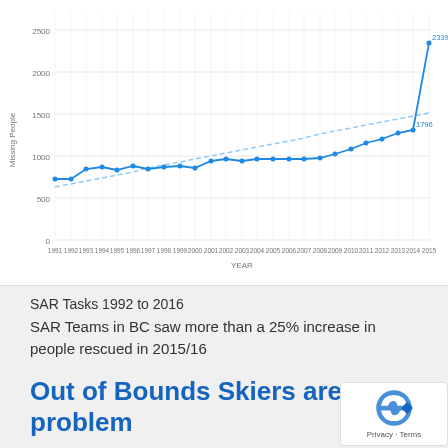[Figure (line-chart): SAR Tasks 1992 to 2015]
SAR Tasks 1992 to 2016
SAR Teams in BC saw more than a 25% increase in people rescued in 2015/16
Out of Bounds Skiers are not problem